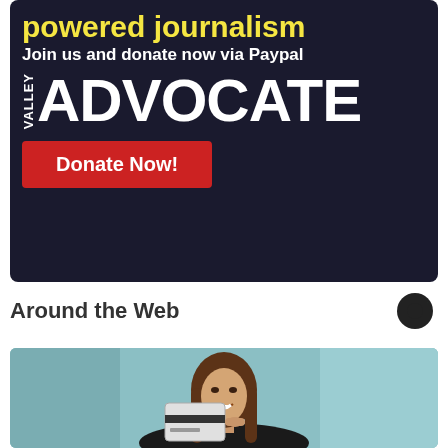[Figure (infographic): Valley Advocate donation advertisement banner with dark navy background, yellow bold text reading 'powered journalism', white text 'Join us and donate now via Paypal', large white VALLEY ADVOCATE logo text, and a red Donate Now! button]
Around the Web
[Figure (photo): Young woman with long brown hair smiling and holding a credit card, pointing at it with her finger, wearing a black top against a teal/light blue background]